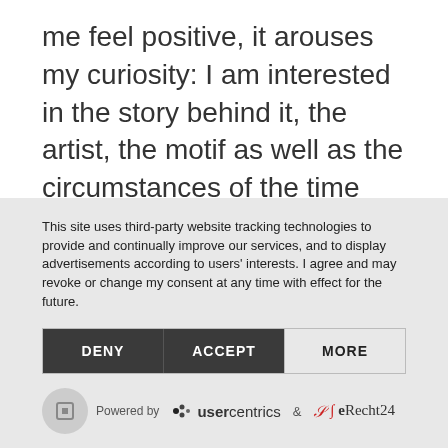me feel positive, it arouses my curiosity: I am interested in the story behind it, the artist, the motif as well as the circumstances of the time when it was created.
This site uses third-party website tracking technologies to provide and continually improve our services, and to display advertisements according to users' interests. I agree and may revoke or change my consent at any time with effect for the future.
DENY  ACCEPT  MORE
Powered by usercentrics & eRecht24